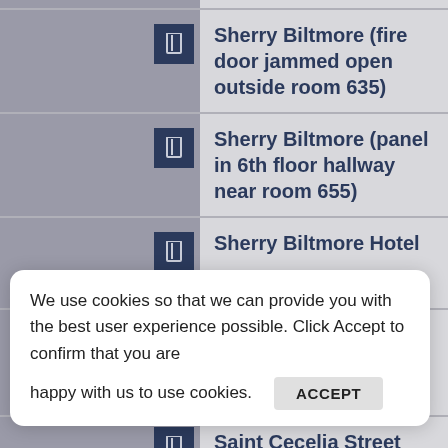Sherry Biltmore (fire door jammed open outside room 635)
Sherry Biltmore (panel in 6th floor hallway near room 655)
Sherry Biltmore Hotel
Sherry Biltmore (7th floor)
Saint Cecelia Street
We use cookies so that we can provide you with the best user experience possible. Click Accept to confirm that you are happy with us to use cookies. ACCEPT